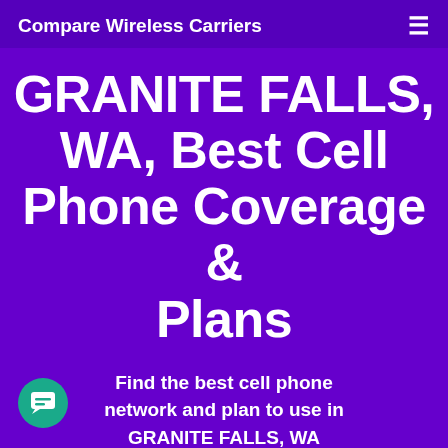Compare Wireless Carriers
GRANITE FALLS, WA, Best Cell Phone Coverage & Plans
Find the best cell phone network and plan to use in GRANITE FALLS, WA